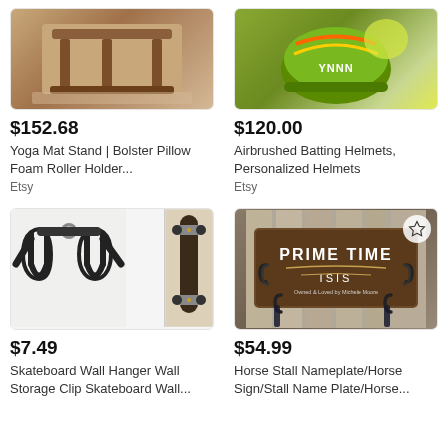[Figure (photo): Yoga mat stand / bolster pillow foam roller holder - wooden rack product photo]
$152.68
Yoga Mat Stand | Bolster Pillow Foam Roller Holder...
Etsy
[Figure (photo): Airbrushed batting helmet with colorful design - personalized helmet product photo]
$120.00
Airbrushed Batting Helmets, Personalized Helmets
Etsy
[Figure (photo): Skateboard wall hanger wall storage clip with skateboard shown mounted]
$7.49
Skateboard Wall Hanger Wall Storage Clip Skateboard Wall...
[Figure (photo): Horse stall nameplate sign reading PRIME TIME ISIS, brown wood with hooks]
$54.99
Horse Stall Nameplate/Horse Sign/Stall Name Plate/Horse...